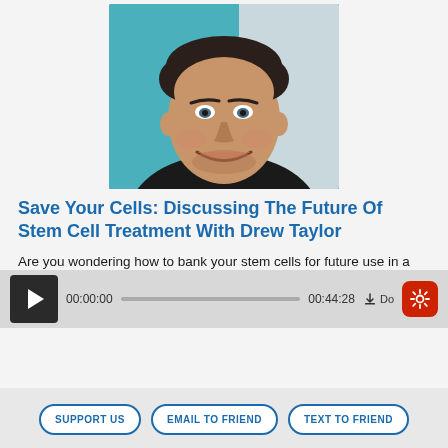[Figure (photo): Headshot photo of Drew Taylor, CEO of Acorn, smiling man in black shirt with teal/blue background]
Save Your Cells: Discussing The Future Of Stem Cell Treatment With Drew Taylor
Are you wondering how to bank your stem cells for future use in a non-invasive way? If so, turn your attention towards Drew Taylor, the CEO of Acorn... Read More
00:00:00  00:44:28  ↓ Do
SUPPORT US
EMAIL TO FRIEND
TEXT TO FRIEND